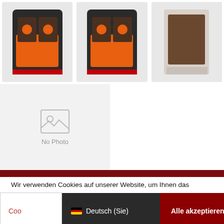[Figure (photo): Three brake pad product photos in orange and dark packaging, displayed side by side at the top of the page]
[Figure (photo): No Photo placeholder thumbnail with image icon and 'No Photo' label on grey background]
Wir verwenden Cookies auf unserer Website, um Ihnen das relevanteste Erlebnis zu bieten, indem wir Ihre Präferenzen speichern und Besuche wiederholen. Indem Sie auf "Alle akzeptieren" klicken, stimmen Sie der Verwendung ALLER Cookies zu. Sie können jedoch die "Cookie-Einstellungen" besuchen, um eine kontrollierte Zustimmung zu erteilen.
Coo... | Deutsch (Sie) | Alle akzeptieren